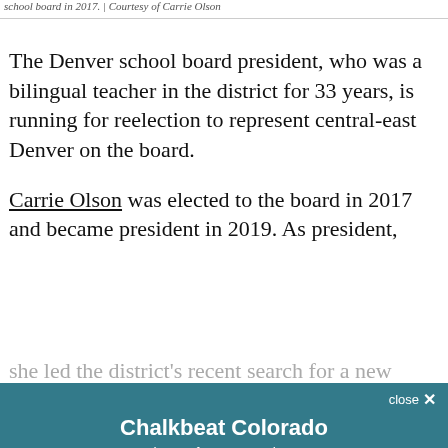school board in 2017.  | Courtesy of Carrie Olson
The Denver school board president, who was a bilingual teacher in the district for 33 years, is running for reelection to represent central-east Denver on the board.
Carrie Olson was elected to the board in 2017 and became president in 2019. As president,
she led the district's recent search for a new superintendent, oversaw the district's response to COVID-19, held forums for parents and questions in English and Spanish live on Chalkbeat
[Figure (screenshot): Chalkbeat Colorado newsletter signup modal overlay with teal background, email input field, Subscribe button, and privacy notice text.]